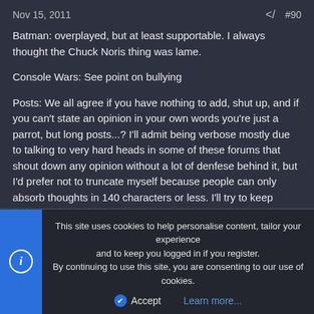Nov 15, 2011  #90
Batman: overplayed, but at least supportable. I always thought the Chuck Noris thing was lame.

Console Wars: See point on bullying

Posts: We all agree if you have nothing to add, shut up, and if you can't state an opinion in your own words you're just a parrot, but long posts...? I'll admit being verbose mostly due to talking to very hard heads in some of these forums that shout down any opinion without a lot of denfese behind it, but I'd prefer not to truncate myself because people can only absorb thoughts in 140 characters or less. I'll try to keep disortations to a minimum.

Bullying: Short version: people are narcisists, hence the victem becomes
This site uses cookies to help personalise content, tailor your experience and to keep you logged in if you register.
By continuing to use this site, you are consenting to our use of cookies.

Accept   Learn more...